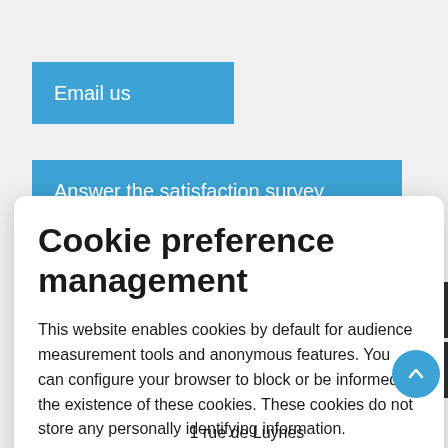Email us
Answer the satisfaction survey
Cookie preference management
This website enables cookies by default for audience measurement tools and anonymous features. You can configure your browser to block or be informed of the existence of these cookies. These cookies do not store any personally identifying information.
Read more
No thanks
I choose
Ok for me
1 rue de Luynes